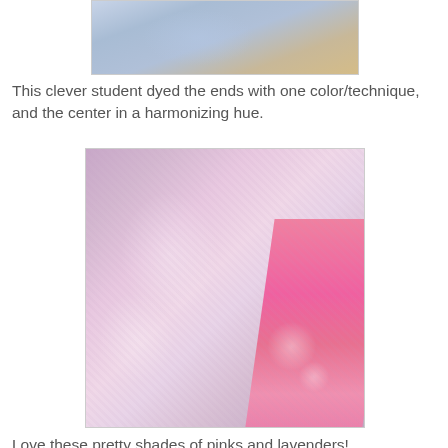[Figure (photo): Top portion of a tie-dyed fabric scarf showing blue and lavender colors with a beige background wall]
This clever student dyed the ends with one color/technique, and the center in a harmonizing hue.
[Figure (photo): Close-up photo of a tie-dyed fabric scarf showing pink and lavender hues with white resist patterns and a bright pink stripe]
Love these pretty shades of pinks and lavenders!